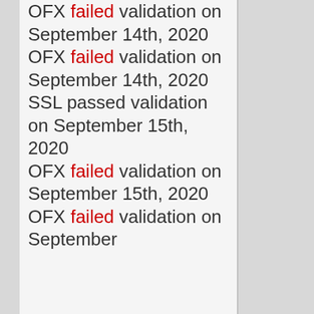OFX failed validation on September 14th, 2020
OFX failed validation on September 14th, 2020
SSL passed validation on September 15th, 2020
OFX failed validation on September 15th, 2020
OFX failed validation on September